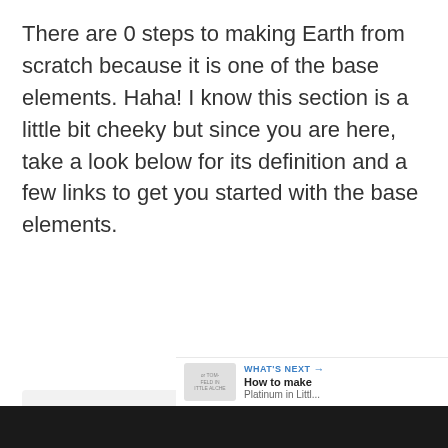There are 0 steps to making Earth from scratch because it is one of the base elements. Haha! I know this section is a little bit cheeky but since you are here, take a look below for its definition and a few links to get you started with the base elements.
[Figure (other): A light gray placeholder content area with three small gray dots centered near the top, representing a loading or empty content carousel/widget.]
[Figure (infographic): Floating action buttons on the right side: a blue circular heart/like button, a count of 1, and a white circular share button with a share icon.]
WHAT'S NEXT → How to make Platinum in Little...